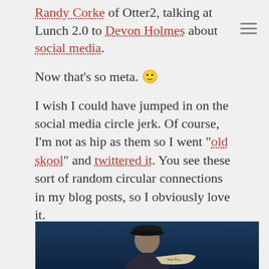Randy Corke of Otter2, talking at Lunch 2.0 to Devon Holmes about social media.
Now that's so meta. 🙂
I wish I could have jumped in on the social media circle jerk. Of course, I'm not as hip as them so I went "old skool" and twittered it. You see these sort of random circular connections in my blog posts, so I obviously love it.
Lunch 2.0. It's been a great year.
[Figure (photo): A man wearing a dark cap holding a newspaper (San Francisco paper), photographed against a blue background.]